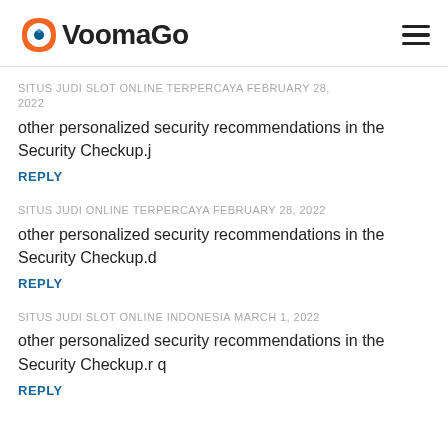VoomaGo
SITUS JUDI SLOT ONLINE TERPERCAYA FEBRUARY 28, 2022
other personalized security recommendations in the Security Checkup.j
REPLY
SITUS JUDI ONLINE TERPERCAYA FEBRUARY 28, 2022
other personalized security recommendations in the Security Checkup.d
REPLY
SITUS JUDI SLOT ONLINE INDONESIA MARCH 1, 2022
other personalized security recommendations in the Security Checkup.r q
REPLY